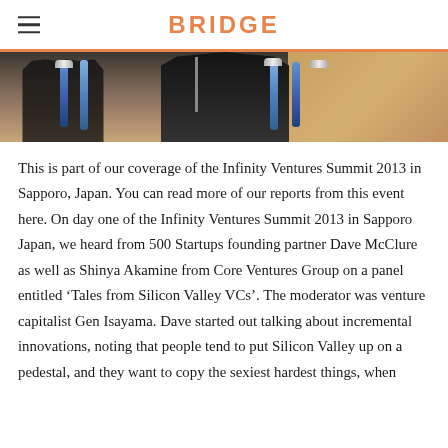BRIDGE
[Figure (photo): Partial photo of audio/recording equipment — drums or speakers with blue cylindrical stands and chrome tops, dark silhouettes against a warm beige background.]
This is part of our coverage of the Infinity Ventures Summit 2013 in Sapporo, Japan. You can read more of our reports from this event here. On day one of the Infinity Ventures Summit 2013 in Sapporo Japan, we heard from 500 Startups founding partner Dave McClure as well as Shinya Akamine from Core Ventures Group on a panel entitled ‘Tales from Silicon Valley VCs’. The moderator was venture capitalist Gen Isayama. Dave started out talking about incremental innovations, noting that people tend to put Silicon Valley up on a pedestal, and they want to copy the sexiest hardest things, when